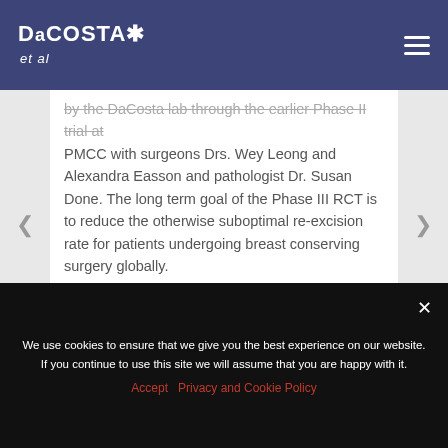DaCOSTA et al
by the DaCosta lab through the earlier Phase II trial at PMCC with surgeons Drs. Wey Leong and Alexandra Easson and pathologist Dr. Susan Done. The long term goal of the Phase III RCT is to reduce the otherwise suboptimal re-excision rate for patients undergoing breast conserving surgery globally.
We use cookies to ensure that we give you the best experience on our website. If you continue to use this site we will assume that you are happy with it.
Accept   Privacy and Cookie Policy